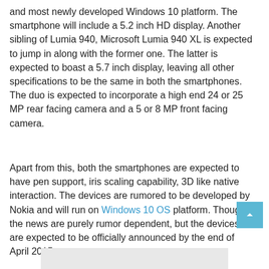and most newly developed Windows 10 platform. The smartphone will include a 5.2 inch HD display. Another sibling of Lumia 940, Microsoft Lumia 940 XL is expected to jump in along with the former one. The latter is expected to boast a 5.7 inch display, leaving all other specifications to be the same in both the smartphones. The duo is expected to incorporate a high end 24 or 25 MP rear facing camera and a 5 or 8 MP front facing camera.
Apart from this, both the smartphones are expected to have pen support, iris scaling capability, 3D like native interaction. The devices are rumored to be developed by Nokia and will run on Windows 10 OS platform. Though the news are purely rumor dependent, but the devices are expected to be officially announced by the end of April 2015.
[Figure (other): Back to top button (light blue square with upward arrow)]
[Figure (other): Gray advertisement banner at bottom of page]